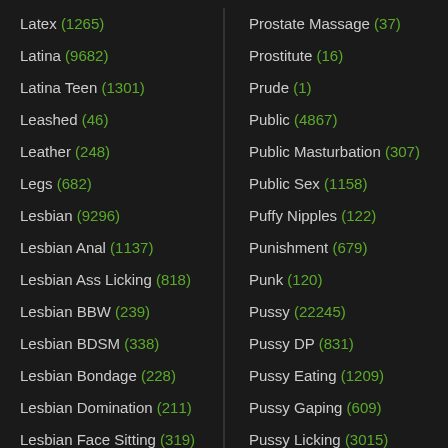Latex (1265)
Latina (9682)
Latina Teen (1301)
Leashed (46)
Leather (248)
Legs (682)
Lesbian (9296)
Lesbian Anal (1137)
Lesbian Ass Licking (818)
Lesbian BBW (239)
Lesbian BDSM (338)
Lesbian Bondage (228)
Lesbian Domination (211)
Lesbian Face Sitting (319)
Lesbian Feet Sex (344)
Lesbian Granny (54)
Prostate Massage (37)
Prostitute (16)
Prude (1)
Public (4867)
Public Masturbation (307)
Public Sex (1158)
Puffy Nipples (122)
Punishment (679)
Punk (120)
Pussy (22245)
Pussy DP (831)
Pussy Eating (1209)
Pussy Gaping (609)
Pussy Licking (3015)
Pussy Lips (154)
Pussy Pump (135)